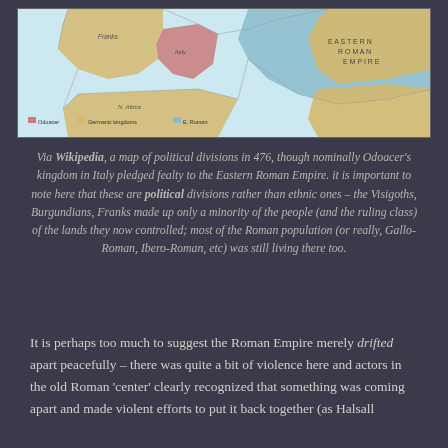[Figure (map): A map of political divisions in 476 AD showing the Roman Empire and various kingdoms in Europe and North Africa. Areas shown include the Eastern Roman Empire (blue/teal), Odoacer's Kingdom in Italy (salmon/pink), and various Germanic kingdoms (yellow/gold). The Mediterranean region is depicted.]
Via Wikipedia, a map of political divisions in 476, though nominally Odoacer's kingdom in Italy pledged fealty to the Eastern Roman Empire. it is important to note here that these are political divisions rather than ethnic ones – the Visigoths, Burgundians, Franks made up only a minority of the people (and the ruling class) of the lands they now controlled; most of the Roman population (or really, Gallo-Roman, Ibero-Roman, etc) was still living there too.
It is perhaps too much to suggest the Roman Empire merely drifted apart peacefully – there was quite a bit of violence here and actors in the old Roman 'center' clearly recognized that something was coming apart and made violent efforts to put it back together (as Halsall